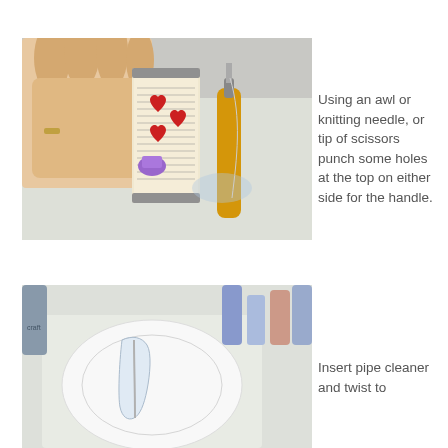[Figure (photo): A hand holding a decorated tin can (covered with newspaper and heart motifs) next to an awl/knitting needle tool on a white surface.]
Using an awl or knitting needle, or tip of scissors punch some holes at the top on either side for the handle.
[Figure (photo): A craft workspace showing a clear plastic handle or pipe cleaner being inserted into holes in a tin can, with craft supplies in the background.]
Insert pipe cleaner and twist to